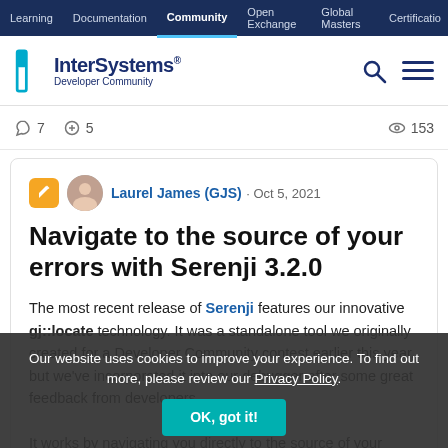Learning | Documentation | Community | Open Exchange | Global Masters | Certification
[Figure (logo): InterSystems Developer Community logo]
7 likes · 5 comments · 153 views
Laurel James (GJS) · Oct 5, 2021
Navigate to the source of your errors with Serenji 3.2.0
The most recent release of Serenji features our innovative gj::locate technology. It was a standalone tool we originally created for a Developer Community contest earlier this year, but we've incorporated it into our debugger after some great feedback from developers.
It works by navigating you directly to the source of your server-side errors in just a couple of clicks - enabling you to quickly fix errors without having to count tedious lines of
Our website uses cookies to improve your experience. To find out more, please review our Privacy Policy.